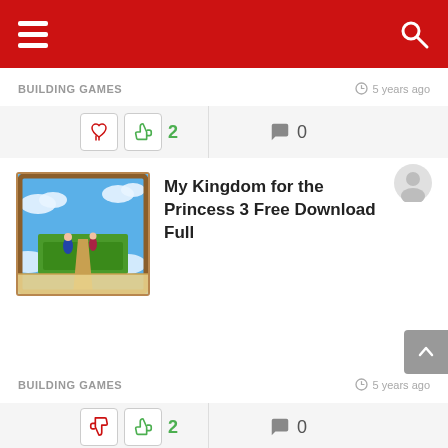[Figure (screenshot): Red navigation header bar with hamburger menu icon on left and search icon on right]
BUILDING GAMES
5 years ago
[Figure (infographic): Vote bar with thumbs down (red), thumbs up (green) with count 2, and comment bubble with count 0]
[Figure (photo): Game thumbnail image for My Kingdom for the Princess 3, showing fantasy landscape with characters]
My Kingdom for the Princess 3 Free Download Full
BUILDING GAMES
5 years ago
[Figure (infographic): Vote bar with thumbs down (red), thumbs up (green) with count 2, and comment bubble with count 0]